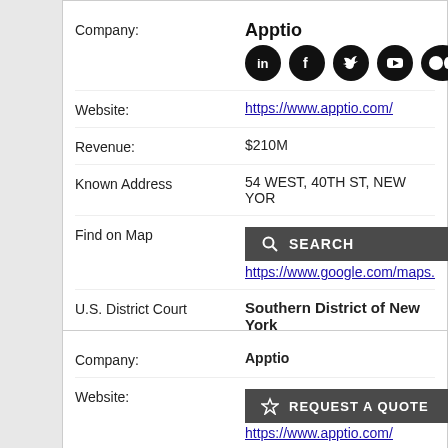| Field | Value |
| --- | --- |
| Company: | Apptio |
| Website: | https://www.apptio.com/ |
| Revenue: | $210M |
| Known Address | 54 WEST, 40TH ST, NEW YOR... |
| Find on Map | https://www.google.com/maps... |
| U.S. District Court | Southern District of New York |
| Field | Value |
| --- | --- |
| Company: | Apptio |
| Website: | https://www.apptio.com/ |
| Revenue: | $210M |